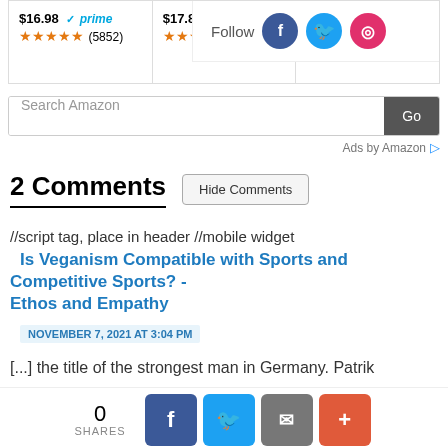[Figure (screenshot): Amazon product widget showing two products with prices $16.98 prime and $17.88 prime with star ratings (5852) and (42...) reviews, plus a Follow bar with Facebook, Twitter, Instagram icons]
[Figure (screenshot): Amazon search bar with 'Search Amazon' placeholder and 'Go' button, with 'Ads by Amazon' label]
2 Comments
//script tag, place in header //mobile widget
Is Veganism Compatible with Sports and Competitive Sports? - Ethos and Empathy
NOVEMBER 7, 2021 AT 3:04 PM
[...] the title of the strongest man in Germany. Patrik
[Figure (screenshot): Bottom share bar with 0 shares count and Facebook, Twitter, email, plus share buttons]